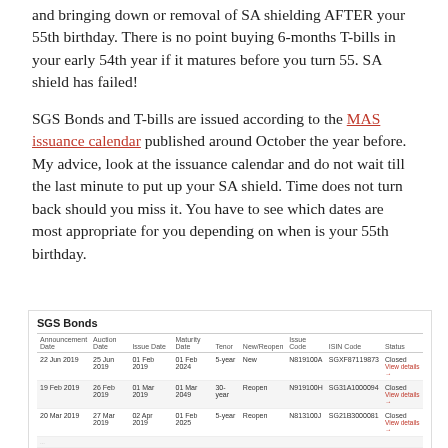and bringing down or removal of SA shielding AFTER your 55th birthday. There is no point buying 6-months T-bills in your early 54th year if it matures before you turn 55. SA shield has failed!
SGS Bonds and T-bills are issued according to the MAS issuance calendar published around October the year before. My advice, look at the issuance calendar and do not wait till the last minute to put up your SA shield. Time does not turn back should you miss it. You have to see which dates are most appropriate for you depending on when is your 55th birthday.
| Announcement Date | Auction Date | Issue Date | Maturity Date | Tenor | New/Reopen | Issue Code | ISIN Code | Status |
| --- | --- | --- | --- | --- | --- | --- | --- | --- |
| 22 Jun 2019 | 25 Jun 2019 | 01 Feb 2019 | 01 Feb 2024 | 5-year | New | N819100A | SGXF87119873 | Closed View details → |
| 19 Feb 2019 | 26 Feb 2019 | 01 Mar 2019 | 01 Mar 2049 | 30-year | Reopen | N919100H | SG31A1000094 | Closed View details → |
| 20 Mar 2019 | 27 Mar 2019 | 02 Apr 2019 | 01 Feb 2025 | 5-year | Reopen | N813100J | SG21B3000081 | Closed View details → |
| ... | ... | ... | ... | ... | ... | ... | ... | ... |